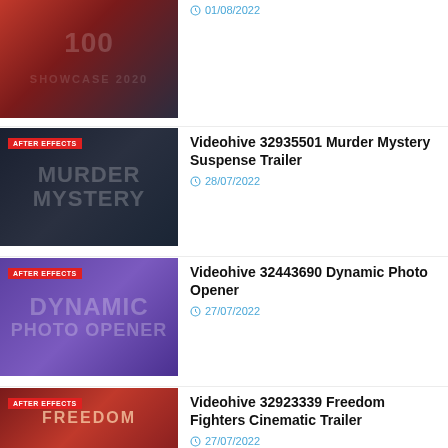[Figure (screenshot): Thumbnail image with red/dark gradient background showing text '100' and 'Showcase 2020' partially visible, with collage-style images]
01/08/2022
[Figure (screenshot): Thumbnail with dark blue/navy background, 'AFTER EFFECTS' red badge, text 'MURDER MYSTERY' overlaid]
Videohive 32935501 Murder Mystery Suspense Trailer
28/07/2022
[Figure (screenshot): Thumbnail with purple background, 'AFTER EFFECTS' red badge, text 'DYNAMIC PHOTO OPENER' overlaid]
Videohive 32443690 Dynamic Photo Opener
27/07/2022
[Figure (screenshot): Thumbnail with dark red background, 'AFTER EFFECTS' red badge, text 'FREEDOM' overlaid]
Videohive 32923339 Freedom Fighters Cinematic Trailer
27/07/2022